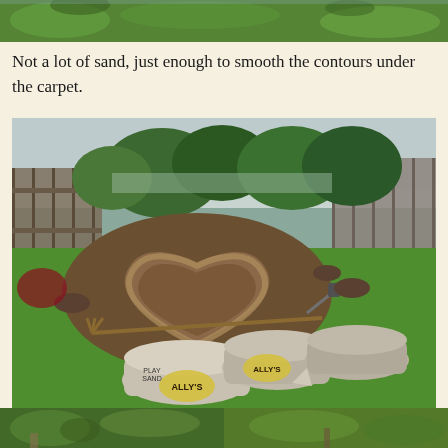[Figure (photo): Top cropped garden/grass photo strip]
Not a lot of sand, just enough to smooth the contours under the carpet.
[Figure (photo): Garden scene with heart-shaped pond excavation in grass, bags of sand in foreground, wooden fence and shrubs in background]
[Figure (photo): Bottom strip showing two partial garden photos side by side]